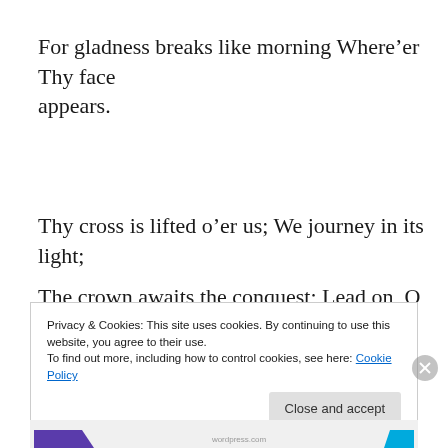For gladness breaks like morning Where’er Thy face appears.
Thy cross is lifted o’er us; We journey in its light;
The crown awaits the conquest; Lead on, O God of might.
Be encouraged,
Privacy & Cookies: This site uses cookies. By continuing to use this website, you agree to their use. To find out more, including how to control cookies, see here: Cookie Policy
Close and accept